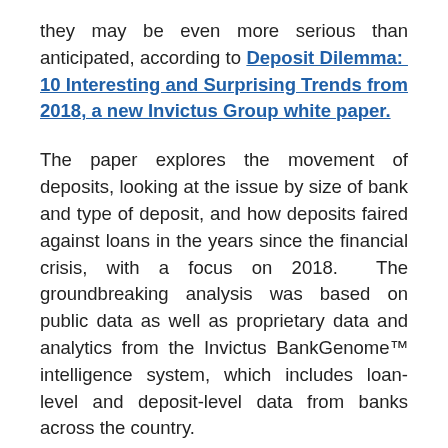they may be even more serious than anticipated, according to Deposit Dilemma:  10 Interesting and Surprising Trends from 2018, a new Invictus Group white paper.
The paper explores the movement of deposits, looking at the issue by size of bank and type of deposit, and how deposits faired against loans in the years since the financial crisis, with a focus on 2018.  The groundbreaking analysis was based on public data as well as proprietary data and analytics from the Invictus BankGenome™ intelligence system, which includes loan-level and deposit-level data from banks across the country.